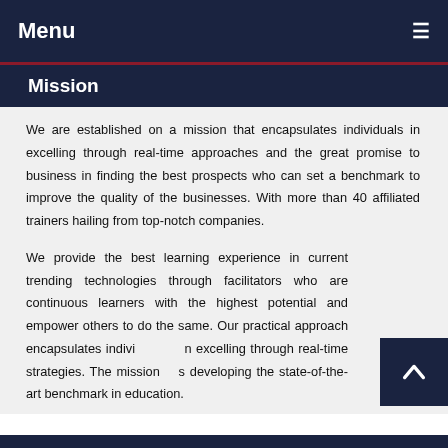Menu
Mission
We are established on a mission that encapsulates individuals in excelling through real-time approaches and the great promise to business in finding the best prospects who can set a benchmark to improve the quality of the businesses. With more than 40 affiliated trainers hailing from top-notch companies.
We provide the best learning experience in current trending technologies through facilitators who are continuous learners with the highest potential and empower others to do the same. Our practical approach encapsulates individuals in excelling through real-time strategies. The mission is developing the state-of-the-art benchmark in education.